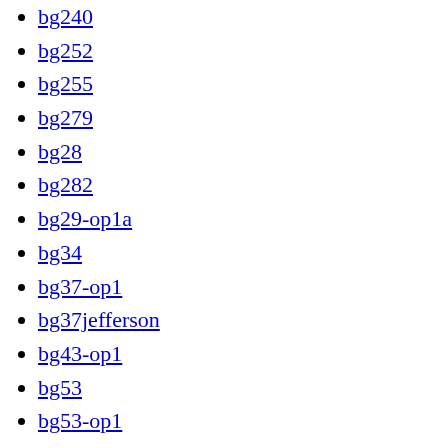bg240
bg252
bg255
bg279
bg28
bg282
bg29-op1a
bg34
bg37-op1
bg37jefferson
bg43-op1
bg53
bg53-op1
bg55
bg60
bg61
bg64
bg99
biggest
bill
billie
billy
bjork
black
blind
blink
blink-182
bloc